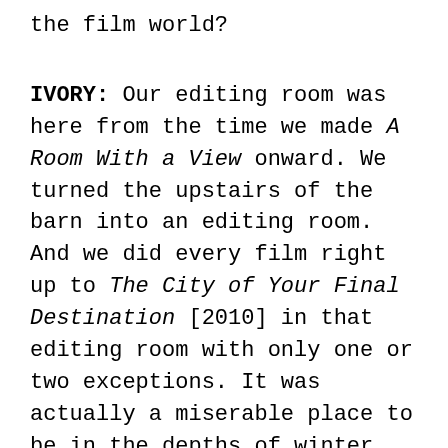the film world?
IVORY: Our editing room was here from the time we made A Room With a View onward. We turned the upstairs of the barn into an editing room. And we did every film right up to The City of Your Final Destination [2010] in that editing room with only one or two exceptions. It was actually a miserable place to be in the depths of winter. It just got to be too much, and I remember deciding to go back to New York to work on Surviving Picasso.
POLLEN: The...